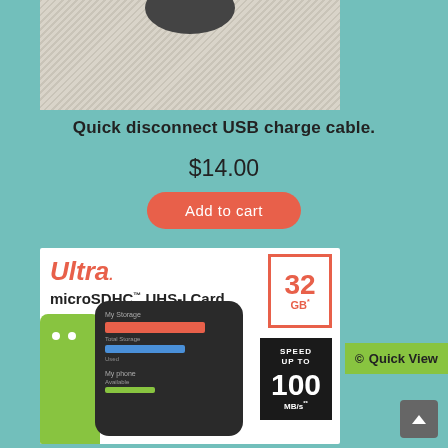[Figure (photo): Top portion of a product photo showing a USB charge cable on a sandy/speckled background]
Quick disconnect USB charge cable.
$14.00
Add to cart
[Figure (photo): SanDisk Ultra microSDHC UHS-I Card 32GB packaging showing Android robot mascot, a smartphone with storage screen, and 100 MB/s speed claim]
Quick View